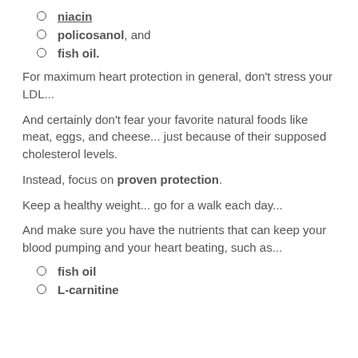niacin
policosanol, and
fish oil.
For maximum heart protection in general, don't stress your LDL...
And certainly don't fear your favorite natural foods like meat, eggs, and cheese... just because of their supposed cholesterol levels.
Instead, focus on proven protection.
Keep a healthy weight... go for a walk each day...
And make sure you have the nutrients that can keep your blood pumping and your heart beating, such as...
fish oil
L-carnitine